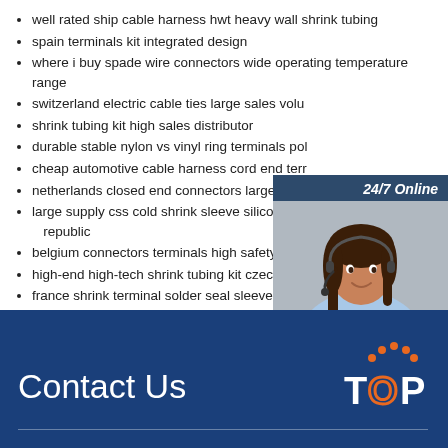well rated ship cable harness hwt heavy wall shrink tubing
spain terminals kit integrated design
where i buy spade wire connectors wide operating temperature range
switzerland electric cable ties large sales volu…
shrink tubing kit high sales distributor
durable stable nylon vs vinyl ring terminals pol…
cheap automotive cable harness cord end ter…
netherlands closed end connectors large supp…
large supply css cold shrink sleeve silicone rub… republic
belgium connectors terminals high safety
high-end high-tech shrink tubing kit czech repu…
france shrink terminal solder seal sleeve appr…
[Figure (photo): Customer service representative woman with headset, chat widget overlay with 24/7 Online header, Click here for free chat text, and orange QUOTATION button]
Contact Us
[Figure (logo): TOP logo with orange dots above the letter O forming an arc, on blue background]